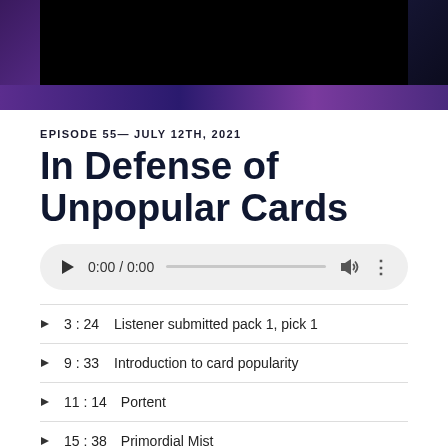[Figure (photo): Podcast thumbnail image with dark purple/black gradient background and black rectangular area in upper portion]
EPISODE 55— JULY 12TH, 2021
In Defense of Unpopular Cards
[Figure (other): Audio player widget showing 0:00 / 0:00 with play button, progress bar, volume and more icons]
3:24   Listener submitted pack 1, pick 1
9:33   Introduction to card popularity
11:14  Portent
15:38  Primordial Mist